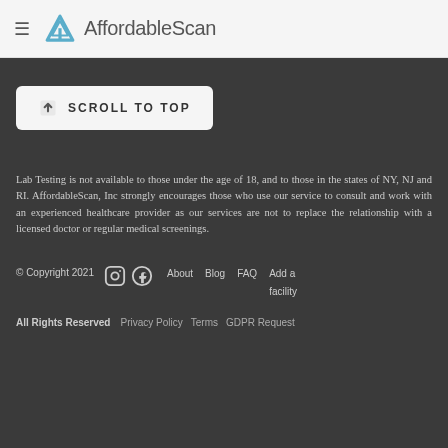AffordableScan
SCROLL TO TOP
Lab Testing is not available to those under the age of 18, and to those in the states of NY, NJ and RI. AffordableScan, Inc strongly encourages those who use our service to consult and work with an experienced healthcare provider as our services are not to replace the relationship with a licensed doctor or regular medical screenings.
© Copyright 2021  About  Blog  FAQ  Add a facility  All Rights Reserved  Privacy Policy  Terms  GDPR Request